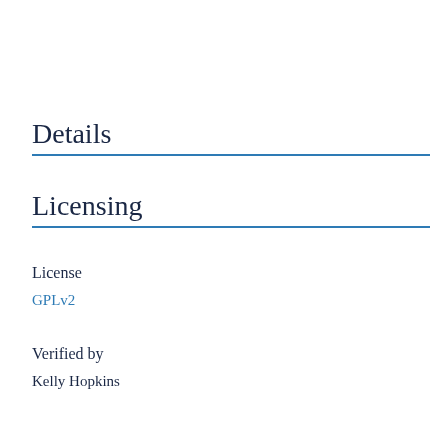Details
Licensing
License
GPLv2
Verified by
Kelly Hopkins